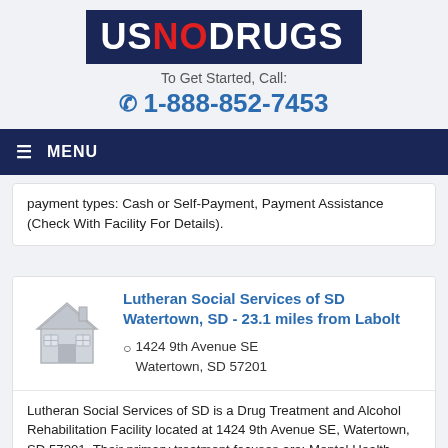[Figure (logo): USNODRUGS logo — US and DRUGS in white on navy background, NO in red]
To Get Started, Call:
☎ 1-888-852-7453
≡ MENU
payment types: Cash or Self-Payment, Payment Assistance (Check With Facility For Details).
Lutheran Social Services of SD Watertown, SD - 23.1 miles from Labolt
1424 9th Avenue SE
Watertown, SD 57201
Lutheran Social Services of SD is a Drug Treatment and Alcohol Rehabilitation Facility located at 1424 9th Avenue SE, Watertown, SD 57201. Their primary treatment focuses are: Mental Health